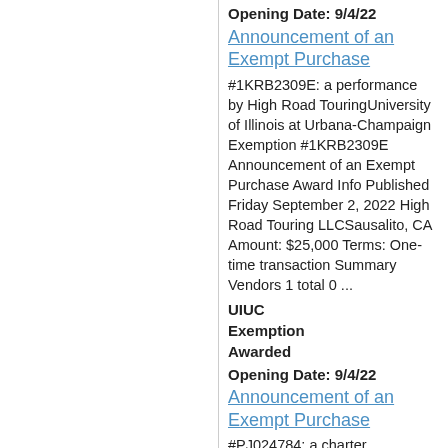Opening Date: 9/4/22
Announcement of an Exempt Purchase
#1KRB2309E: a performance by High Road TouringUniversity of Illinois at Urbana-Champaign Exemption #1KRB2309E Announcement of an Exempt Purchase Award Info Published Friday September 2, 2022 High Road Touring LLCSausalito, CA Amount: $25,000 Terms: One-time transaction Summary Vendors 1 total 0 ...
UIUC
Exemption
Awarded
Opening Date: 9/4/22
Announcement of an Exempt Purchase
#PJ024784: a charter flightEastern Illinois University Exemption #PJ024784 Announcement of an Exempt Purchase Award